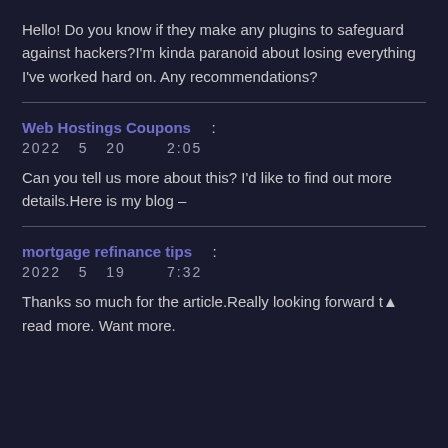Hello! Do you know if they make any plugins to safeguard against hackers?I'm kinda paranoid about losing everything I've worked hard on. Any recommendations?
Web Hostings Coupons  :
2022  5  20       2:05
Can you tell us more about this? I'd like to find out more details.Here is my blog –
mortgage refinance tips  :
2022  5  19       7:32
Thanks so much for the article.Really looking forward to read more. Want more.